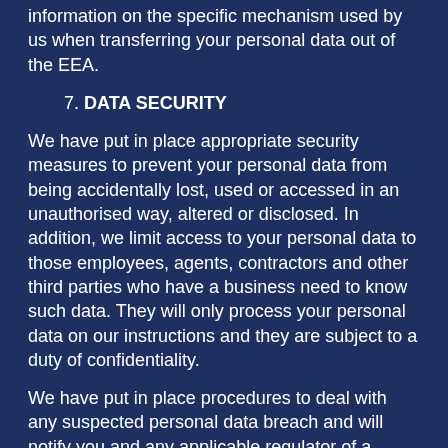information on the specific mechanism used by us when transferring your personal data out of the EEA.
7. DATA SECURITY
We have put in place appropriate security measures to prevent your personal data from being accidentally lost, used or accessed in an unauthorised way, altered or disclosed. In addition, we limit access to your personal data to those employees, agents, contractors and other third parties who have a business need to know such data. They will only process your personal data on our instructions and they are subject to a duty of confidentiality.
We have put in place procedures to deal with any suspected personal data breach and will notify you and any applicable regulator of a breach where we are legally required to do so.
8. DATA RETENTION
We will only retain your personal data for as long as necessary to fulfil the purposes we collected it for, including for the purposes of satisfying any legal, accounting, or reporting requirements.
To determine the appropriate retention period for personal data, we consider the amount, nature, and sensitivity of